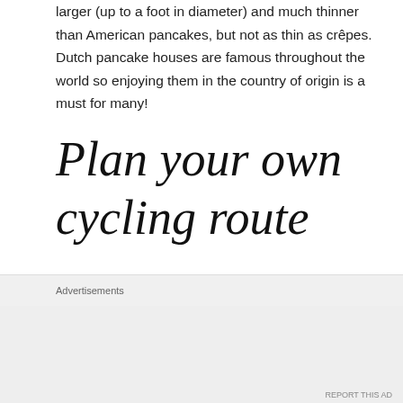larger (up to a foot in diameter) and much thinner than American pancakes, but not as thin as crêpes. Dutch pancake houses are famous throughout the world so enjoying them in the country of origin is a must for many!
Plan your own cycling route
You can plan your own cycling route via this website or use one of the ready to go cycling routes below:
Advertisements
REPORT THIS AD